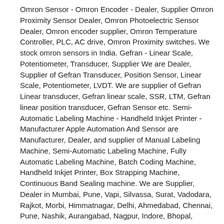Omron Sensor - Omron Encoder - Dealer, Supplier Omron Proximity Sensor Dealer, Omron Photoelectric Sensor Dealer, Omron encoder supplier, Omron Temperature Controller, PLC, AC drive, Omron Proximity switches. We stock omron sensors in India. Gefran - Linear Scale, Potentiometer, Transducer, Supplier We are Dealer, Supplier of Gefran Transducer, Position Sensor, Linear Scale, Potentiometer, LVDT. We are supplier of Gefran Linear transducer, Gefran linear scale, SSR, LTM, Gefran linear position transducer, Gefran Sensor etc. Semi-Automatic Labeling Machine - Handheld Inkjet Printer - Manufacturer Apple Automation And Sensor are Manufacturer, Dealer, and supplier of Manual Labeling Machine, Semi-Automatic Labeling Machine, Fully Automatic Labeling Machine, Batch Coding Machine, Handheld Inkjet Printer, Box Strapping Machine, Continuous Band Sealing machine. We are Supplier, Dealer in Mumbai, Pune, Vapi, Silvassa, Surat, Vadodara, Rajkot, Morbi, Himmatnagar, Delhi, Ahmedabad, Chennai, Pune, Nashik, Aurangabad, Nagpur, Indore, Bhopal, Sangli, Satara, Kolhapur, Solapur, Hugli, Kupwad, Ichalkaranji, Bangalore, Hyderabad, Coimbatore, Cochin, Vasai, Virar, Wada, Tarapur, Ankleshwar, Thane, Jaipur, Ghaziabad, Faridabad, Noida, Gurgaon, Ludhiana, Chandigarh, Dehradun, Baddi, Kolkata, Lucknow, Kanpur, Visakhapatnam.